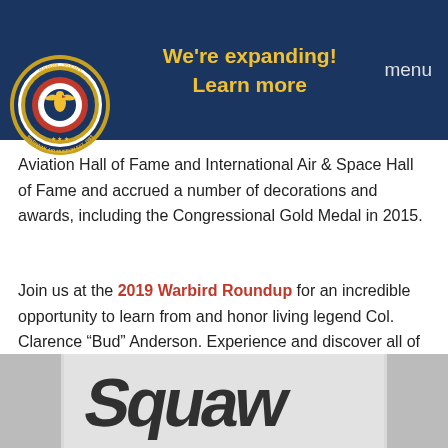We're expanding! Learn more | menu
[Figure (logo): Warhawk Air Museum circular logo with eagle/aircraft emblem, dark navy and gold colors, 'NAMPA IDAHO' and 'WARHAWK AIR MUSEUM EST. 1989' text around border]
Aviation Hall of Fame and International Air & Space Hall of Fame and accrued a number of decorations and awards, including the Congressional Gold Medal in 2015.
Join us at the 2019 Warbird Roundup for an incredible opportunity to learn from and honor living legend Col. Clarence “Bud” Anderson. Experience and discover all of the exciting tales and experiential wisdom that the last living WWII “triple ace” and highly sought after aviation and military speaker has to impart.
[Figure (photo): Black and white photograph of warbird aircraft nose art or aircraft tail section, showing bold stylized markings]